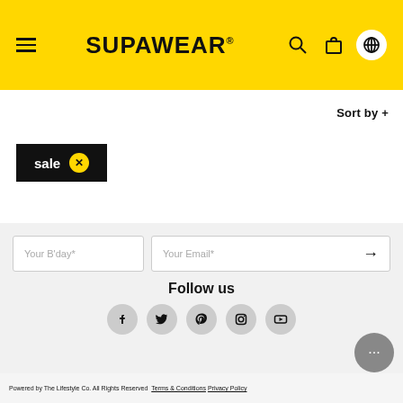SUPAWEAR®
Sort by +
sale ✕
Your B'day*
Your Email*
Follow us
[Figure (infographic): Social media icons: Facebook, Twitter, Pinterest, Instagram, YouTube]
[Figure (infographic): Payment method logos: American Express, Apple Pay, Google Pay, Mastercard, PayPal, DPay, Visa, Afterpay]
Powered by The Lifestyle Co. All Rights Reserved  Terms & Conditions  Privacy Policy